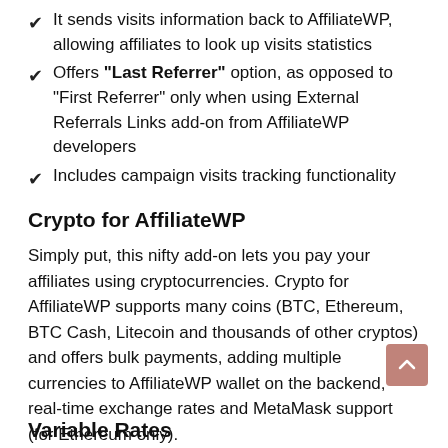It sends visits information back to AffiliateWP, allowing affiliates to look up visits statistics
Offers "Last Referrer" option, as opposed to "First Referrer" only when using External Referrals Links add-on from AffiliateWP developers
Includes campaign visits tracking functionality
Crypto for AffiliateWP
Simply put, this nifty add-on lets you pay your affiliates using cryptocurrencies. Crypto for AffiliateWP supports many coins (BTC, Ethereum, BTC Cash, Litecoin and thousands of other cryptos) and offers bulk payments, adding multiple currencies to AffiliateWP wallet on the backend, real-time exchange rates and MetaMask support (for Ethereum only).
Variable Rates